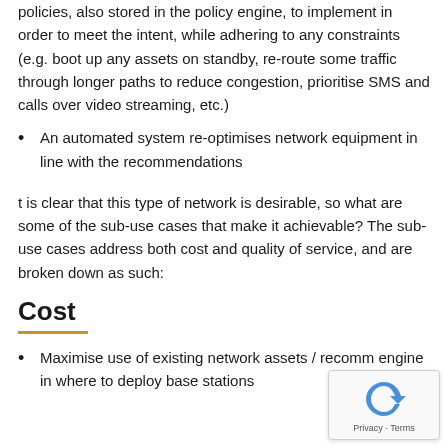policies, also stored in the policy engine, to implement in order to meet the intent, while adhering to any constraints (e.g. boot up any assets on standby, re-route some traffic through longer paths to reduce congestion, prioritise SMS and calls over video streaming, etc.)
An automated system re-optimises network equipment in line with the recommendations
t is clear that this type of network is desirable, so what are some of the sub-use cases that make it achievable? The sub-use cases address both cost and quality of service, and are broken down as such:
Cost
Maximise use of existing network assets / recomm engine in where to deploy base stations